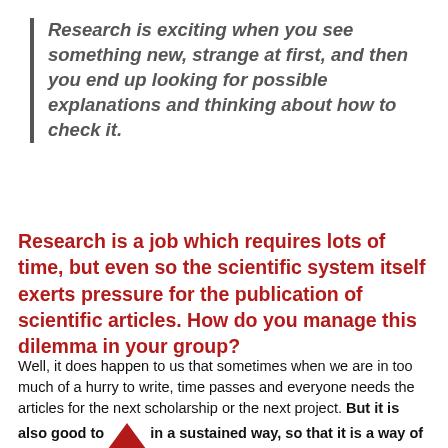Research is exciting when you see something new, strange at first, and then you end up looking for possible explanations and thinking about how to check it.
Research is a job which requires lots of time, but even so the scientific system itself exerts pressure for the publication of scientific articles. How do you manage this dilemma in your group?
Well, it does happen to us that sometimes when we are in too much of a hurry to write, time passes and everyone needs the articles for the next scholarship or the next project. But it is also good to write in a sustained way, so that it is a way of reflecting on the work, seen from the outside, and that helps to progress. Perhaps some time ago there were less publications but more correspondence